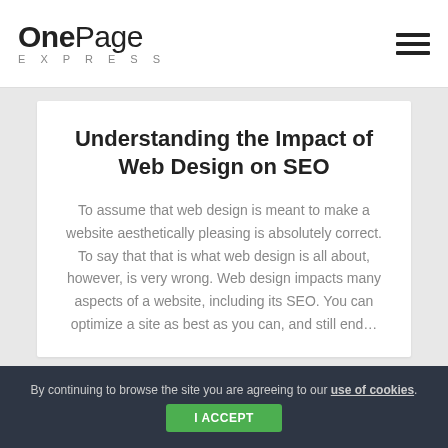OnePage EXPRESS
Understanding the Impact of Web Design on SEO
To assume that web design is meant to make a website aesthetically pleasing is absolutely correct. To say that that is what web design is all about, however, is very wrong. Web design impacts many aspects of a website, including its SEO. You can optimize a site as best as you can, and still end…
By continuing to browse the site you are agreeing to our use of cookies. I ACCEPT